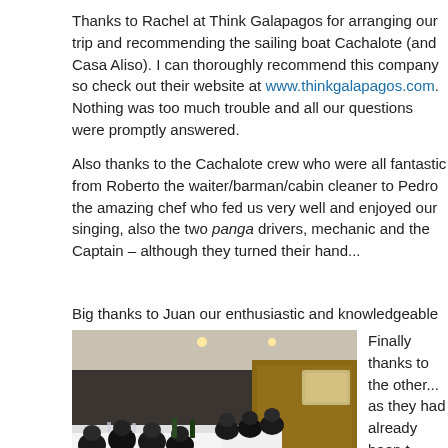Thanks to Rachel at Think Galapagos for arranging our trip and recommending the sailing boat Cachalote (and Casa Aliso). I can thoroughly recommend this company so check out their website at www.thinkgalapagos.com. Nothing was too much trouble and all our questions were promptly answered.
Also thanks to the Cachalote crew who were all fantastic from Roberto the waiter/barman/cabin cleaner to Pedro the amazing chef who fed us very well and enjoyed our singing, also the two panga drivers, mechanic and the Captain – although they turned their hand...
Big thanks to Juan our enthusiastic and knowledgeable guide and a...
[Figure (photo): Group photo of people seated around a long table in the dining room of a boat/ship, wearing dark t-shirts, with white tablecloths and bottles on the table.]
Finally thanks to the other... as they had already been t... week. A good group of new... your tips for the Inca Trail, ... and will look out for that ba...